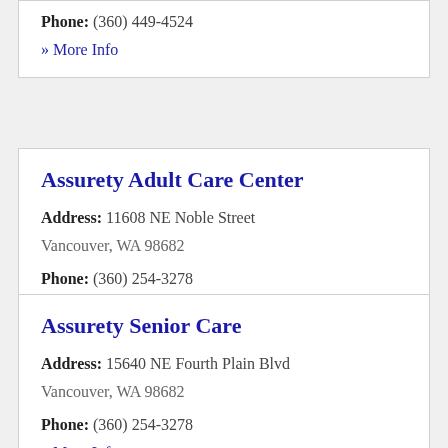Phone: (360) 449-4524
» More Info
Assurety Adult Care Center
Address: 11608 NE Noble Street Vancouver, WA 98682
Phone: (360) 254-3278
» More Info
Assurety Senior Care
Address: 15640 NE Fourth Plain Blvd Vancouver, WA 98682
Phone: (360) 254-3278
» More Info